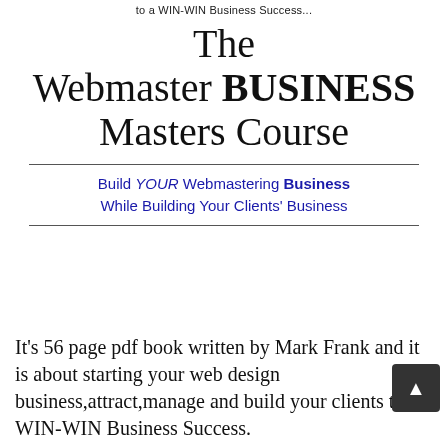to a WIN-WIN Business Success...
The Webmaster BUSINESS Masters Course
Build YOUR Webmastering Business While Building Your Clients' Business
It's 56 page pdf book written by Mark Frank and it is about starting your web design business,attract,manage and build your clients to WIN-WIN Business Success.